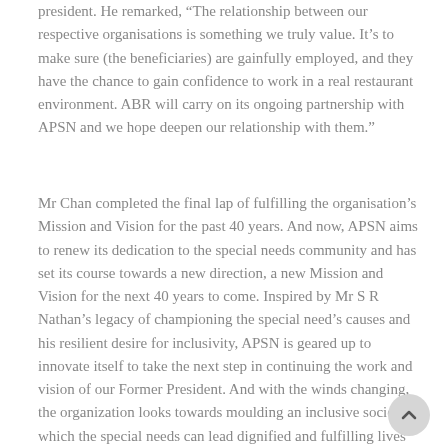president. He remarked, “The relationship between our respective organisations is something we truly value. It’s to make sure (the beneficiaries) are gainfully employed, and they have the chance to gain confidence to work in a real restaurant environment. ABR will carry on its ongoing partnership with APSN and we hope deepen our relationship with them.”
Mr Chan completed the final lap of fulfilling the organisation’s Mission and Vision for the past 40 years. And now, APSN aims to renew its dedication to the special needs community and has set its course towards a new direction, a new Mission and Vision for the next 40 years to come. Inspired by Mr S R Nathan’s legacy of championing the special need’s causes and his resilient desire for inclusivity, APSN is geared up to innovate itself to take the next step in continuing the work and vision of our Former President. And with the winds changing, the organization looks towards moulding an inclusive society which the special needs can lead dignified and fulfilling lives as integral members of Singapore’s society.